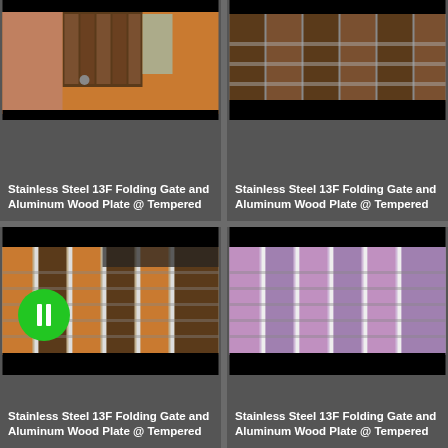[Figure (photo): Photo of stainless steel 13F folding gate with aluminum wood plate, close-up view showing gate mechanism on brick paving]
Stainless Steel 13F Folding Gate and Aluminum Wood Plate @ Tempered
[Figure (photo): Photo of stainless steel 13F folding gate with aluminum wood plate, dark panels visible]
Stainless Steel 13F Folding Gate and Aluminum Wood Plate @ Tempered
[Figure (photo): Photo of stainless steel 13F folding gate with aluminum wood plate, row of gates with green play button overlay]
Stainless Steel 13F Folding Gate and Aluminum Wood Plate @ Tempered
[Figure (photo): Photo of stainless steel 13F folding gate with aluminum wood plate, pink/purple tinted row of gates]
Stainless Steel 13F Folding Gate and Aluminum Wood Plate @ Tempered